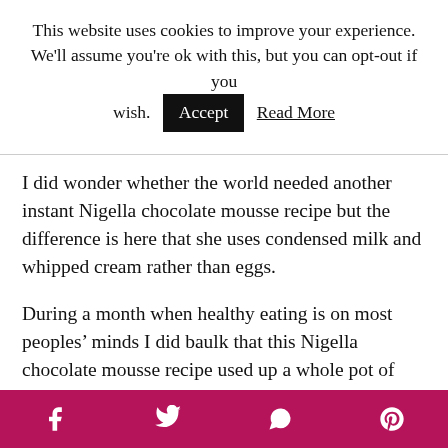This website uses cookies to improve your experience. We'll assume you're ok with this, but you can opt-out if you wish. Accept  Read More
I did wonder whether the world needed another instant Nigella chocolate mousse recipe but the difference is here that she uses condensed milk and whipped cream rather than eggs.
During a month when healthy eating is on most peoples’ minds I did baulk that this Nigella chocolate mousse recipe used up a whole pot of Elmlea double cream to make just three desserts. So this is a very rich treat indeed. I’m
Social share bar: Facebook, Twitter, WhatsApp, Pinterest